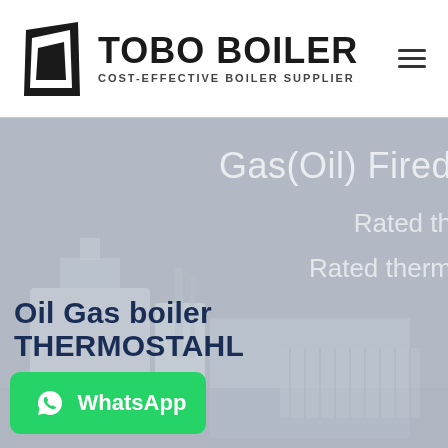[Figure (logo): TOBO BOILER logo with black trapezoid icon and text 'TOBO BOILER / COST-EFFECTIVE BOILER SUPPLIER']
[Figure (photo): Hero banner showing industrial gas/oil fired boiler equipment in grey-blue tones with overlay text 'Gas(Oil) Fired', 'Rated th...', 'Rated therm...']
Oil Gas boiler THERMOSTAHL
[Figure (logo): WhatsApp button with phone icon and 'WhatsApp' label on green background]